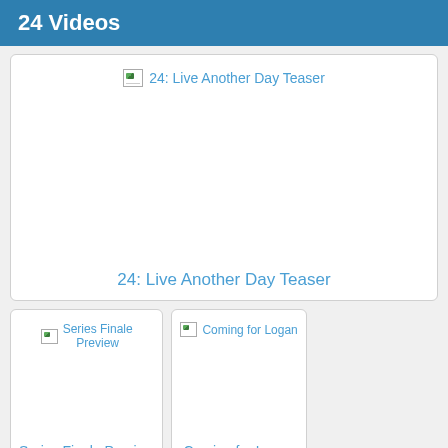24 Videos
[Figure (screenshot): Video thumbnail placeholder for '24: Live Another Day Teaser' with broken image icon]
24: Live Another Day Teaser
[Figure (screenshot): Video thumbnail placeholder for 'Series Finale Preview' with broken image icon]
Series Finale Preview
[Figure (screenshot): Video thumbnail placeholder for 'Coming for Logan' with broken image icon]
Coming for Logan